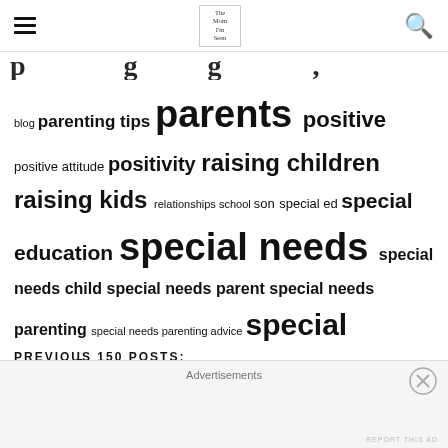hamburger menu | logo | search
blog parenting tips parents positive positive attitude positivity raising children raising kids relationships school son special ed special education special needs special needs child special needs parent special needs parenting special needs parenting advice special needs parents special needs sibling spectrum Speech wholesome worry
PREVIOUS 150 POSTS:
Being Healthy For My Kids (Not For Me)
Advertisements